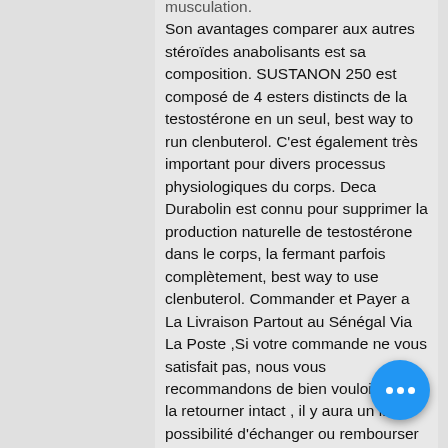musculation. Son avantages comparer aux autres st&eacute;ro&iuml;des anabolisants est sa composition. SUSTANON 250 est compos&eacute; de 4 esters distincts de la testost&eacute;rone en un seul, best way to run clenbuterol. C'est également très important pour divers processus physiologiques du corps. Deca Durabolin est connu pour supprimer la production naturelle de testostérone dans le corps, la fermant parfois complètement, best way to use clenbuterol. Commander et Payer a La Livraison Partout au Sénégal Via La Poste ,Si votre commande ne vous satisfait pas, nous vous recommandons de bien vouloir nous la retourner intact , il y aura un la possibilité d'échanger ou rembourser sur un Délais de 5 jours, best way to take clenbuterol liquid. Vous avez la possibilité de retourner ou d'échanger un ou plusieurs articles non portés ,un délais de 5 jours vous